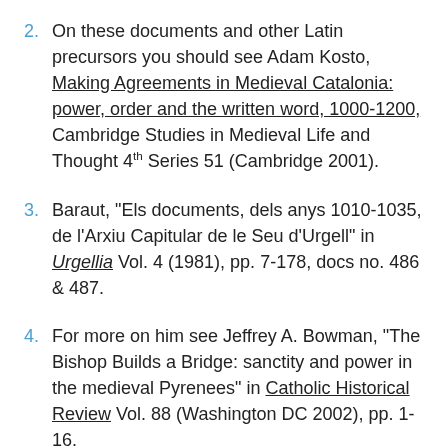2. On these documents and other Latin precursors you should see Adam Kosto, Making Agreements in Medieval Catalonia: power, order and the written word, 1000-1200, Cambridge Studies in Medieval Life and Thought 4th Series 51 (Cambridge 2001).
3. Baraut, "Els documents, dels anys 1010-1035, de l'Arxiu Capitular de le Seu d'Urgell" in Urgellia Vol. 4 (1981), pp. 7-178, docs no. 486 & 487.
4. For more on him see Jeffrey A. Bowman, "The Bishop Builds a Bridge: sanctity and power in the medieval Pyrenees" in Catholic Historical Review Vol. 88 (Washington DC 2002), pp. 1-16.
5. Uncle and nephew appear together at the union of the